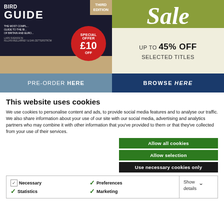[Figure (photo): Left banner: Bird Guide book cover with dark background, large white 'BIRD GUIDE' text, 'THIRD EDITION' badge in tan, red circular badge showing 'SPECIAL OFFER £10 OFF', bird silhouette, subtitle text 'THE MOST COMPLETE GUIDE TO THE BIRDS OF BRITAIN AND EUROPE', authors. Blue-gray pre-order button at bottom reading 'PRE-ORDER HERE'.]
[Figure (photo): Right banner: olive/green background with large white italic 'Sale' text at top. Below on cream background: 'UP TO 45% OFF SELECTED TITLES'. Navy blue button at bottom reading 'BROWSE HERE'.]
This website uses cookies
We use cookies to personalise content and ads, to provide social media features and to analyse our traffic. We also share information about your use of our site with our social media, advertising and analytics partners who may combine it with other information that you've provided to them or that they've collected from your use of their services.
Allow all cookies
Allow selection
Use necessary cookies only
Necessary
Preferences
Statistics
Marketing
Show details